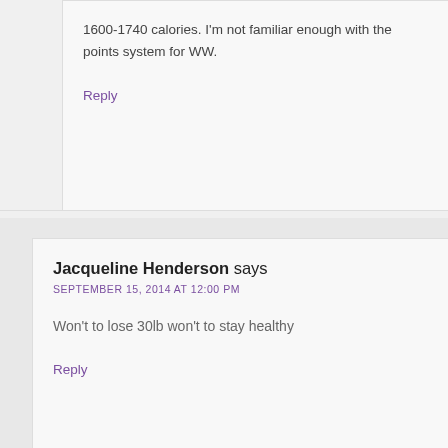1600-1740 calories. I'm not familiar enough with the points system for WW.
Reply
Jacqueline Henderson says
SEPTEMBER 15, 2014 AT 12:00 PM
Won't to lose 30lb won't to stay healthy
Reply